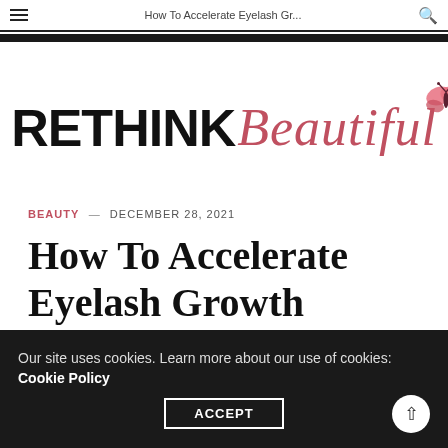How To Accelerate Eyelash Gr...
[Figure (logo): RETHINK Beautiful logo with butterfly graphic in pink/rose color]
BEAUTY — DECEMBER 28, 2021
How To Accelerate Eyelash Growth
Our site uses cookies. Learn more about our use of cookies: Cookie Policy